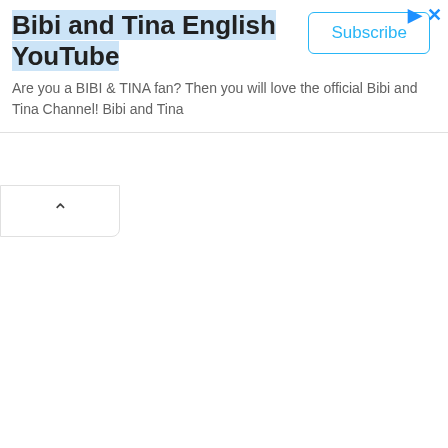Bibi and Tina English YouTube
Are you a BIBI & TINA fan? Then you will love the official Bibi and Tina Channel! Bibi and Tina
[Figure (screenshot): Subscribe button with blue border and blue text reading 'Subscribe']
[Figure (screenshot): Collapse/chevron up button — a rounded rectangular button with an upward-pointing caret icon]